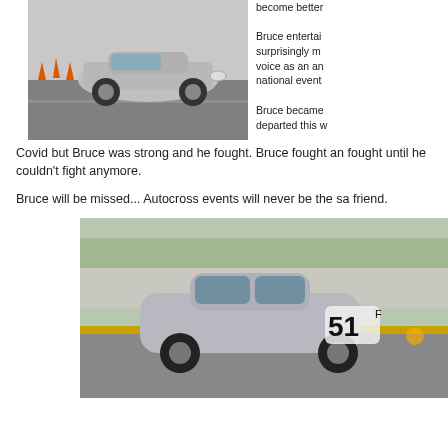[Figure (photo): Silver Camaro on autocross course with orange cones]
become better

Bruce entertai surprisingly m voice as an an national event

Bruce became departed this w
Covid but Bruce was strong and he fought. Bruce fought an fought until he couldn't fight anymore.
Bruce will be missed... Autocross events will never be the sa friend.
[Figure (photo): Silver MINI Cooper with number 51 on autocross track]